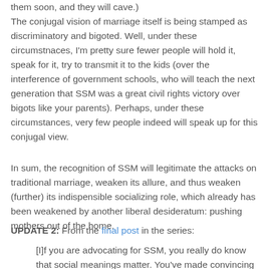them soon, and they will cave.) The conjugal vision of marriage itself is being stamped as discriminatory and bigoted. Well, under these circumstnaces, I'm pretty sure fewer people will hold it, speak for it, try to transmit it to the kids (over the interference of government schools, who will teach the next generation that SSM was a great civil rights victory over bigots like your parents). Perhaps, under these circumstances, very few people indeed will speak up for this conjugal view.
In sum, the recognition of SSM will legitimate the attacks on traditional marriage, weaken its allure, and thus weaken (further) its indispensible socializing role, which already has been weakened by another liberal desideratum: pushing mothers out of the home.
UPDATE 2: From the final post in the series:
[I]f you are advocating for SSM, you really do know that social meanings matter. You've made convincing advances that social institutions